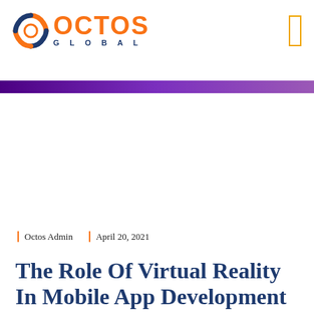[Figure (logo): Octos Global logo with orange circular icon and orange OCTOS text with dark blue GLOBAL subtitle]
Octos Admin   April 20, 2021
The Role Of Virtual Reality In Mobile App Development